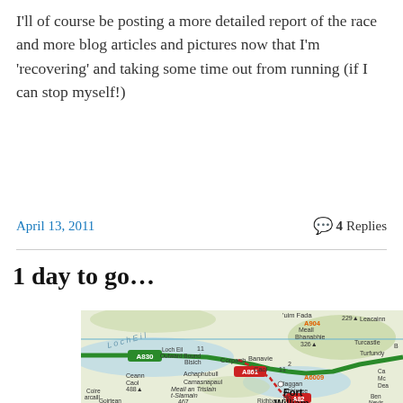I'll of course be posting a more detailed report of the race and more blog articles and pictures now that I'm 'recovering' and taking some time out from running (if I can stop myself!)
April 13, 2011
4 Replies
1 day to go…
[Figure (map): A road map showing Fort William area in Scotland, with roads including A830, A861, A82, and landmarks such as Corpach, Banavie, Caol, Loch Eil, Meall Bhanabhie, Leacainn, and Ben Nevis. Green highlighted route and red dashed route visible.]